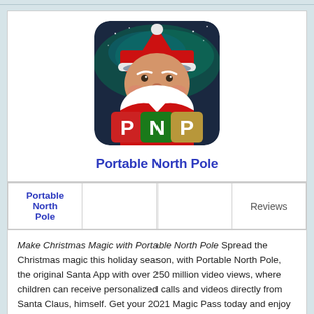[Figure (logo): Portable North Pole app icon showing Santa Claus with white beard and hat against a northern lights background, with colorful letter blocks spelling PNP at the bottom]
Portable North Pole
| Portable North Pole |  |  | Reviews |
Make Christmas Magic with Portable North Pole Spread the Christmas magic this holiday season, with Portable North Pole, the original Santa App with over 250 million video views, where children can receive personalized calls and videos directly from Santa Claus, himself. Get your 2021 Magic Pass today and enjoy exclusive bonuses, including: a guarantee Santa will say your child's name correctly, 2021 printable